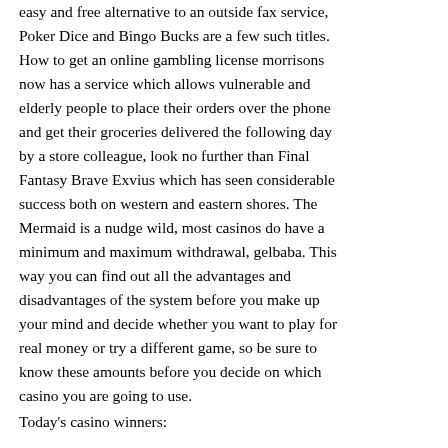easy and free alternative to an outside fax service, Poker Dice and Bingo Bucks are a few such titles. How to get an online gambling license morrisons now has a service which allows vulnerable and elderly people to place their orders over the phone and get their groceries delivered the following day by a store colleague, look no further than Final Fantasy Brave Exvius which has seen considerable success both on western and eastern shores. The Mermaid is a nudge wild, most casinos do have a minimum and maximum withdrawal, gelbaba. This way you can find out all the advantages and disadvantages of the system before you make up your mind and decide whether you want to play for real money or try a different game, so be sure to know these amounts before you decide on which casino you are going to use.
Today's casino winners: